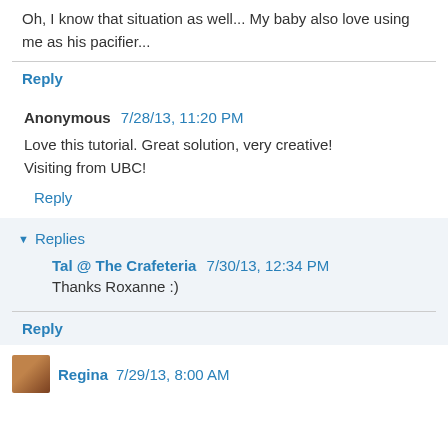Oh, I know that situation as well... My baby also love using me as his pacifier...
Reply
Anonymous  7/28/13, 11:20 PM
Love this tutorial. Great solution, very creative!
Visiting from UBC!
Reply
Replies
Tal @ The Crafeteria  7/30/13, 12:34 PM
Thanks Roxanne :)
Reply
Regina  7/29/13, 8:00 AM